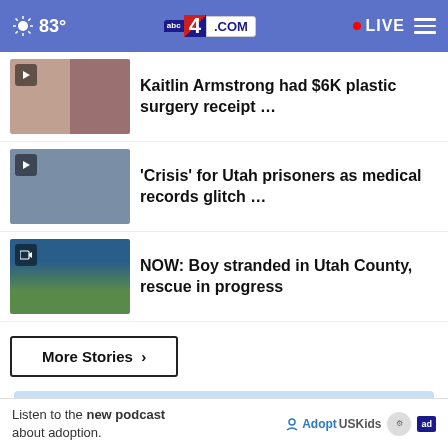83° abc4.com LIVE
Kaitlin Armstrong had $6K plastic surgery receipt …
'Crisis' for Utah prisoners as medical records glitch …
NOW: Boy stranded in Utah County, rescue in progress
More Stories ›
WE ALL KNOW WHAT IT'S LIKE TO FEEL
Listen to the new podcast about adoption. Adopt US Kids